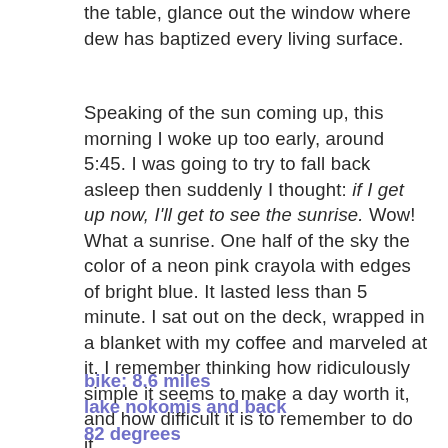the table, glance out the window where dew has baptized every living surface.
Speaking of the sun coming up, this morning I woke up too early, around 5:45. I was going to try to fall back asleep then suddenly I thought: if I get up now, I'll get to see the sunrise. Wow! What a sunrise. One half of the sky the color of a neon pink crayola with edges of bright blue. It lasted less than 5 minute. I sat out on the deck, wrapped in a blanket with my coffee and marveled at it. I remember thinking how ridiculously simple it seems to make a day worth it, and how difficult it is to remember to do it.
bike: 8.6 miles
lake nokomis and back
82 degrees